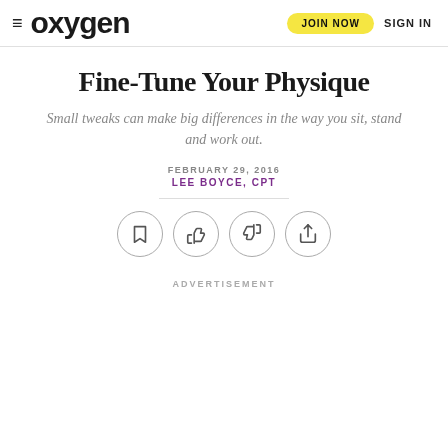≡ oxygen | JOIN NOW | SIGN IN
Fine-Tune Your Physique
Small tweaks can make big differences in the way you sit, stand and work out.
FEBRUARY 29, 2016
LEE BOYCE, CPT
[Figure (other): Row of four circular icon buttons: bookmark, thumbs up, thumbs down, share]
ADVERTISEMENT